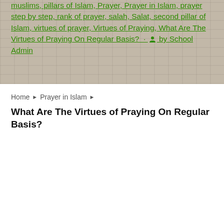[Figure (photo): Background hero image showing a tiled courtyard or outdoor area with a grid-like floor pattern, overlaid with a semi-transparent brownish/grey tone. Green hyperlink text is overlaid on top of the image.]
muslims, pillars of Islam, Prayer, Prayer in Islam, prayer step by step, rank of prayer, salah, Salat, second pillar of Islam, virtues of prayer, Virtues of Praying, What Are The Virtues of Praying On Regular Basis? · by School Admin
Home › Prayer in Islam › What Are The Virtues of Praying On Regular Basis?
What Are The Virtues of Praying On Regular Basis?